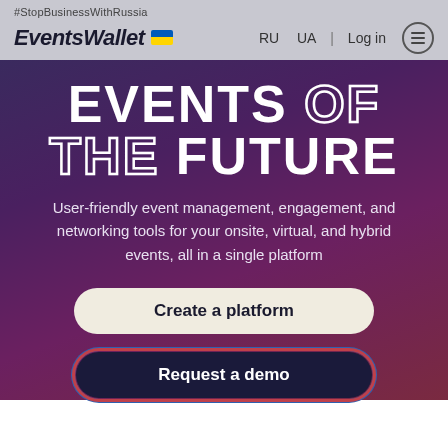#StopBusinessWithRussia
EventsWallet RU UA | Log in
EVENTS OF THE FUTURE
User-friendly event management, engagement, and networking tools for your onsite, virtual, and hybrid events, all in a single platform
Create a platform
Request a demo